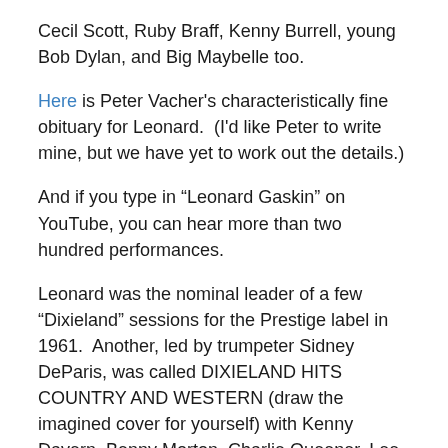Cecil Scott, Ruby Braff, Kenny Burrell, young Bob Dylan, and Big Maybelle too.
Here is Peter Vacher's characteristically fine obituary for Leonard.  (I'd like Peter to write mine, but we have yet to work out the details.)
And if you type in “Leonard Gaskin” on YouTube, you can hear more than two hundred performances.
Leonard was the nominal leader of a few “Dixieland” sessions for the Prestige label in 1961.  Another, led by trumpeter Sidney DeParis, was called DIXIELAND HITS COUNTRY AND WESTERN (draw the imagined cover for yourself) with Kenny Davern, Benny Morton, Charlie Queener, Lee Blair, Herbie Lovelle. . . . from whence this sly gem comes: